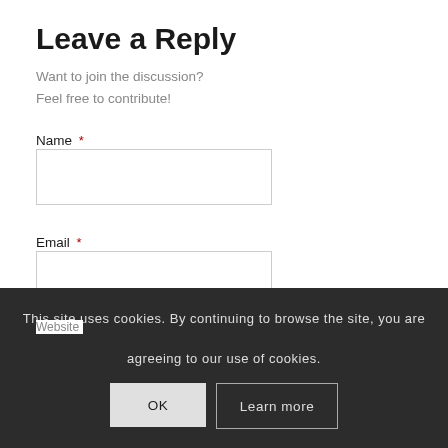Leave a Reply
Want to join the discussion?
Feel free to contribute!
Name *
Email *
Website
This site uses cookies. By continuing to browse the site, you are agreeing to our use of cookies.
OK
Learn more